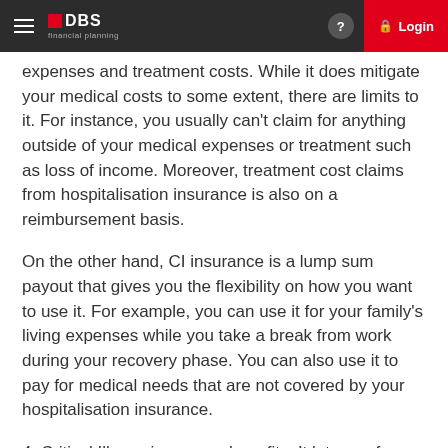DBS financial planning — Login
expenses and treatment costs. While it does mitigate your medical costs to some extent, there are limits to it. For instance, you usually can't claim for anything outside of your medical expenses or treatment such as loss of income. Moreover, treatment cost claims from hospitalisation insurance is also on a reimbursement basis.
On the other hand, CI insurance is a lump sum payout that gives you the flexibility on how you want to use it. For example, you can use it for your family's living expenses while you take a break from work during your recovery phase. You can also use it to pay for medical needs that are not covered by your hospitalisation insurance.
4. Critical Illness insurance benefits: It lets you focus